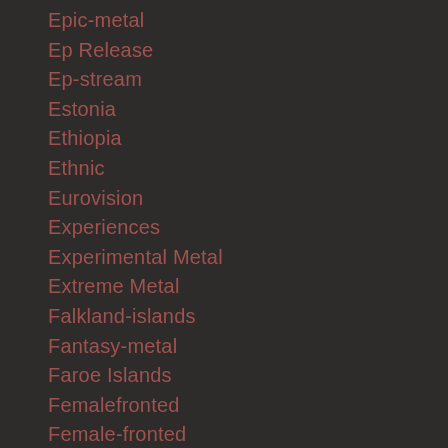Epic-metal
Ep Release
Ep-stream
Estonia
Ethiopia
Ethnic
Eurovision
Experiences
Experimental Metal
Extreme Metal
Falkland-islands
Fantasy-metal
Faroe Islands
Femalefronted
Female-fronted
Festival
Fiji
Film
Film-score
Finland
Folk-Metal